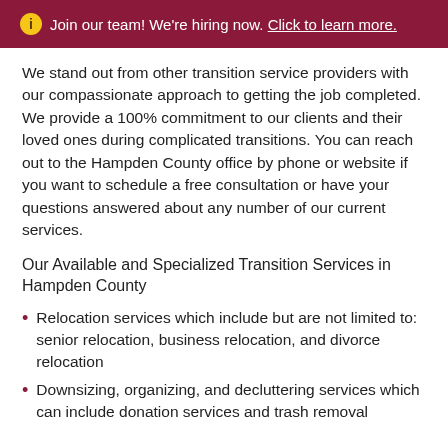ℹ Join our team! We're hiring now. Click to learn more.
We stand out from other transition service providers with our compassionate approach to getting the job completed. We provide a 100% commitment to our clients and their loved ones during complicated transitions. You can reach out to the Hampden County office by phone or website if you want to schedule a free consultation or have your questions answered about any number of our current services.
Our Available and Specialized Transition Services in Hampden County
Relocation services which include but are not limited to: senior relocation, business relocation, and divorce relocation
Downsizing, organizing, and decluttering services which can include donation services and trash removal